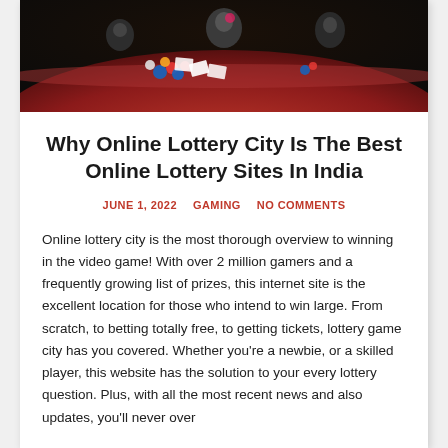[Figure (photo): Casino scene with people around a red felt table with poker chips and cards, dealer or player visible in background]
Why Online Lottery City Is The Best Online Lottery Sites In India
JUNE 1, 2022   GAMING   NO COMMENTS
Online lottery city is the most thorough overview to winning in the video game! With over 2 million gamers and a frequently growing list of prizes, this internet site is the excellent location for those who intend to win large. From scratch, to betting totally free, to getting tickets, lottery game city has you covered. Whether you're a newbie, or a skilled player, this website has the solution to your every lottery question. Plus, with all the most recent news and also updates, you'll never over